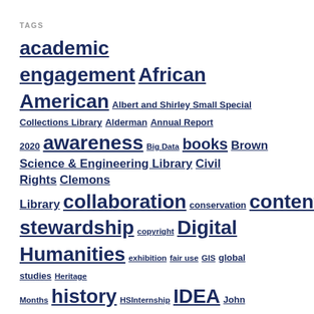TAGS
academic engagement African American Albert and Shirley Small Special Collections Library Alderman Annual Report 2020 awareness Big Data books Brown Science & Engineering Library Civil Rights Clemons Library collaboration conservation content stewardship copyright Digital Humanities exhibition fair use GIS global studies Heritage Months history HSInternship IDEA John Unsworth Libra library resource library staff manuscripts Music Library new